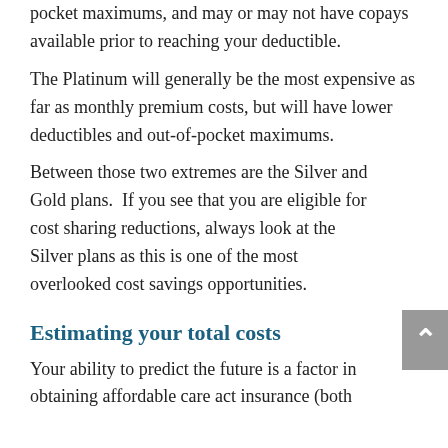pocket maximums, and may or may not have copays available prior to reaching your deductible.
The Platinum will generally be the most expensive as far as monthly premium costs, but will have lower deductibles and out-of-pocket maximums.
Between those two extremes are the Silver and Gold plans.  If you see that you are eligible for cost sharing reductions, always look at the Silver plans as this is one of the most overlooked cost savings opportunities.
Estimating your total costs
Your ability to predict the future is a factor in obtaining affordable care act insurance (both